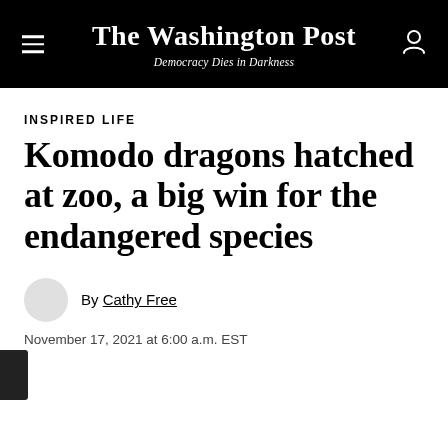The Washington Post — Democracy Dies in Darkness
INSPIRED LIFE
Komodo dragons hatched at zoo, a big win for the endangered species
By Cathy Free
November 17, 2021 at 6:00 a.m. EST